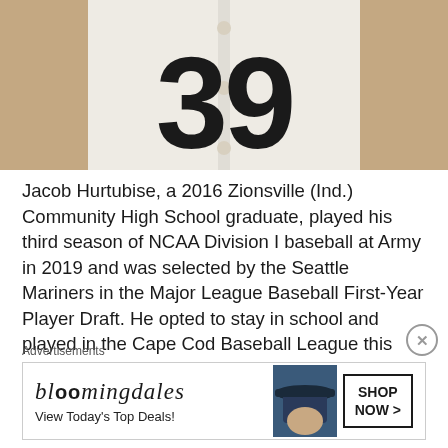[Figure (photo): Photo of a baseball player wearing a white jersey with number 39 in large black letters. Arms visible on either side.]
Jacob Hurtubise, a 2016 Zionsville (Ind.) Community High School graduate, played his third season of NCAA Division I baseball at Army in 2019 and was selected by the Seattle Mariners in the Major League Baseball First-Year Player Draft. He opted to stay in school and played in the Cape Cod Baseball League this summer. (Army West Point Athletics Photo)
Advertisements
[Figure (other): Bloomingdale's advertisement banner with logo, 'View Today's Top Deals!' text, model with hat, and 'SHOP NOW >' button]